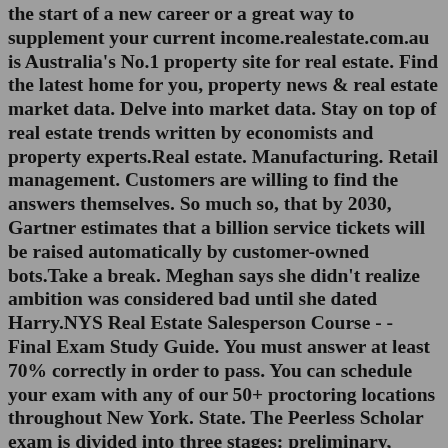the start of a new career or a great way to supplement your current income.realestate.com.au is Australia's No.1 property site for real estate. Find the latest home for you, property news & real estate market data. Delve into market data. Stay on top of real estate trends written by economists and property experts.Real estate. Manufacturing. Retail management. Customers are willing to find the answers themselves. So much so, that by 2030, Gartner estimates that a billion service tickets will be raised automatically by customer-owned bots.Take a break. Meghan says she didn't realize ambition was considered bad until she dated Harry.NYS Real Estate Salesperson Course - - Final Exam Study Guide. You must answer at least 70% correctly in order to pass. You can schedule your exam with any of our 50+ proctoring locations throughout New York. State. The Peerless Scholar exam is divided into three stages: preliminary, midterm, and final. Using our Peerless Scholar Search, you can pass all of them. Peerless Scholar in Rise of Kingdoms where you will